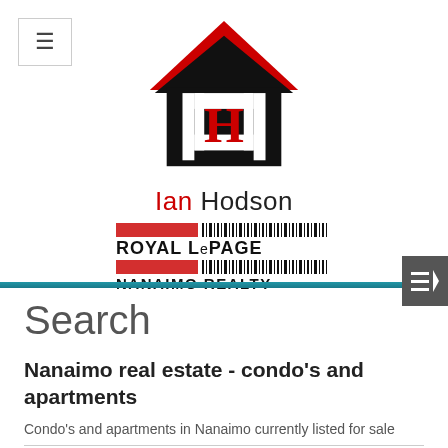[Figure (logo): Ian Hodson Royal LePage Nanaimo Realty logo with house icon]
Search
Nanaimo real estate - condo's and apartments
Condo's and apartments in Nanaimo currently listed for sale
[Figure (other): Social media buttons: Facebook, Google, Twitter, and Login/Signup button]